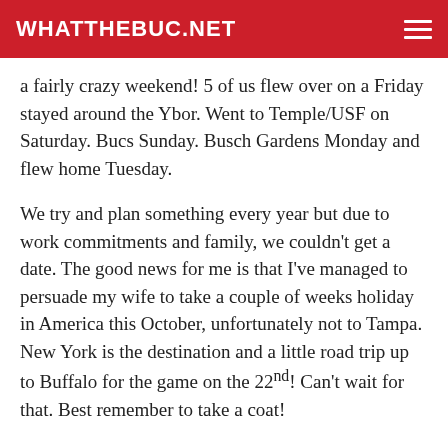WHATTHEBUC.NET
a fairly crazy weekend! 5 of us flew over on a Friday stayed around the Ybor. Went to Temple/USF on Saturday. Bucs Sunday. Busch Gardens Monday and flew home Tuesday.
We try and plan something every year but due to work commitments and family, we couldn't get a date. The good news for me is that I've managed to persuade my wife to take a couple of weeks holiday in America this October, unfortunately not to Tampa. New York is the destination and a little road trip up to Buffalo for the game on the 22nd! Can't wait for that. Best remember to take a coat!